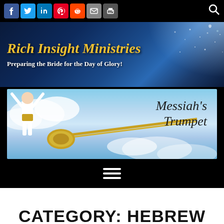[Figure (screenshot): Social share icons toolbar: Facebook, Twitter, LinkedIn, Pinterest, Reddit, Email, Print, and a search icon on black background]
[Figure (logo): Rich Insight Ministries banner with gold italic text on starry night sky background. Subtitle: Preparing the Bride for the Day of Glory!]
[Figure (illustration): Messiah's Trumpet banner showing an angel figure in white and gold robe with arms raised, a golden trumpet, and the text Messiah's Trumpet on a blue sky background]
[Figure (screenshot): Hamburger menu icon (three horizontal white lines) on black background]
CATEGORY: HEBREW